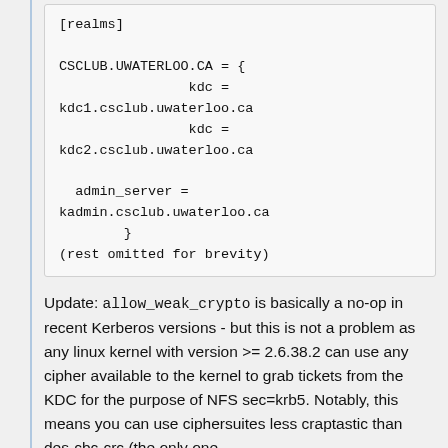[Figure (other): Code block showing Kerberos krb5.conf realms configuration with CSCLUB.UWATERLOO.CA realm, kdc entries, admin_server, and note about rest omitted for brevity]
Update: allow_weak_crypto is basically a no-op in recent Kerberos versions - but this is not a problem as any linux kernel with version >= 2.6.38.2 can use any cipher available to the kernel to grab tickets from the KDC for the purpose of NFS sec=krb5. Notably, this means you can use ciphersuites less craptastic than des-cbc-crc (the only one